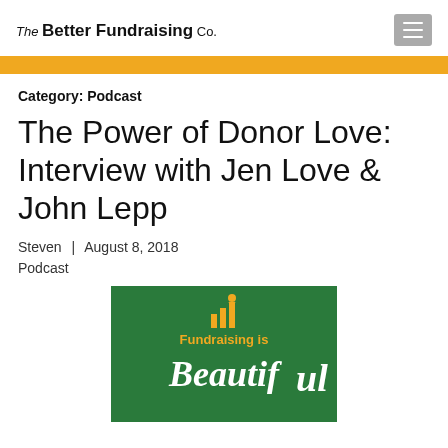The Better Fundraising Co.
Category: Podcast
The Power of Donor Love: Interview with Jen Love & John Lepp
Steven | August 8, 2018
Podcast
[Figure (illustration): Green background podcast cover image with gold bar chart icon and text 'Fundraising is Beautiful' in cursive white font and gold serif font]